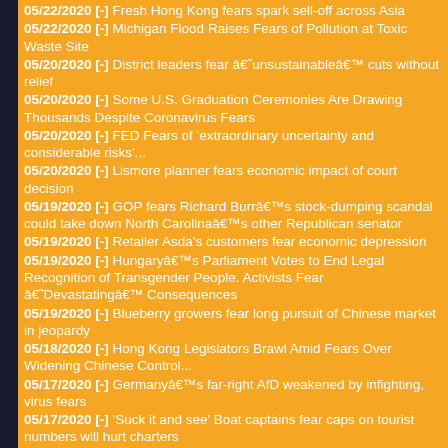05/22/2020 [-] Fresh Hong Kong fears spark sell-off across Asia
05/22/2020 [-] Michigan Flood Raises Fears of Pollution at Toxic Waste Site
05/20/2020 [-] District leaders fear â€˜unsustainableâ€™ cuts without relief
05/20/2020 [-] Some U.S. Graduation Ceremonies Are Drawing Thousands Despite Coronavirus Fears
05/20/2020 [-] FED Fears of 'extraordinary uncertainty and considerable risks'...
05/20/2020 [-] Lismore planner fears economic impact of court decision
05/19/2020 [-] GOP fears Richard Burrâ€™s stock-dumping scandal could take down North Carolinaâ€™s other Republican senator
05/19/2020 [-] Retailer Asda's customers fear economic depression
05/19/2020 [-] Hungaryâ€™s Parliament Votes to End Legal Recognition of Transgender People. Activists Fear â€˜Devastatingâ€™ Consequences
05/19/2020 [-] Blueberry growers fear long pursuit of Chinese market in jeopardy
05/18/2020 [-] Hong Kong Legislators Brawl Amid Fears Over Widening Chinese Control...
05/17/2020 [-] Germanyâ€™s far-right AfD weakened by infighting, virus fears
05/17/2020 [-] 'Suck it and see' Boat captains fear caps on tourist numbers will hurt charters
05/16/2020 [-] Exorcist fears pandemic will see rise in 'possessed' victims...
05/15/2020 [-] Small towns fear tourists will bring virus...
05/15/2020 [-] Wall Street falls as trade war fears add to virus woes